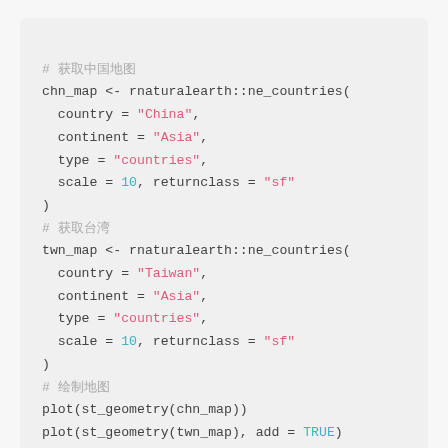# [comment] chn_map <- rnaturalearth::ne_countries( country = "China", continent = "Asia", type = "countries", scale = 10, returnclass = "sf" ) # [comment] twn_map <- rnaturalearth::ne_countries( country = "Taiwan", continent = "Asia", type = "countries", scale = 10, returnclass = "sf" ) # [comment] plot(st_geometry(chn_map)) plot(st_geometry(twn_map), add = TRUE)